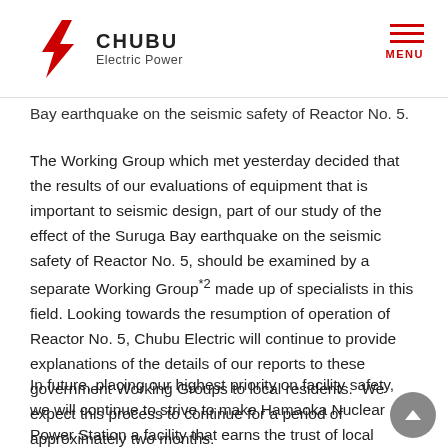CHUBU Electric Power
Bay earthquake on the seismic safety of Reactor No. 5.
The Working Group which met yesterday decided that the results of our evaluations of equipment that is important to seismic design, part of our study of the effect of the Suruga Bay earthquake on the seismic safety of Reactor No. 5, should be examined by a separate Working Group*2 made up of specialists in this field. Looking towards the resumption of operation of Reactor No. 5, Chubu Electric will continue to provide explanations of the details of our reports to these government Working Groups to local residents.  We expect this process to continue for a period of approximately two months.
In future, placing our highest priority on facility safety, we will continue to strive to make Hamaoka Nuclear Power Station a facility that earns the trust of local residents.